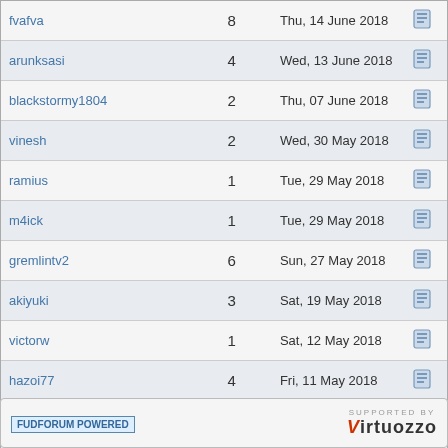| Username | Posts | Last Post |  |
| --- | --- | --- | --- |
| fvafva | 8 | Thu, 14 June 2018 |  |
| arunksasi | 4 | Wed, 13 June 2018 |  |
| blackstormy1804 | 2 | Thu, 07 June 2018 |  |
| vinesh | 2 | Wed, 30 May 2018 |  |
| ramius | 1 | Tue, 29 May 2018 |  |
| m4ick | 1 | Tue, 29 May 2018 |  |
| gremlintv2 | 6 | Sun, 27 May 2018 |  |
| akiyuki | 3 | Sat, 19 May 2018 |  |
| victorw | 1 | Sat, 12 May 2018 |  |
| hazoi77 | 4 | Fri, 11 May 2018 |  |
| flip101 | 1 | Fri, 11 May 2018 |  |
Pages (131): [1 2 3 4 5 6 7 8 9 10 11 12 13 14 15 › »]
Current Time: Wed Aug 31 14:44:41 GMT 20
Total time taken to generate the page: 0.00817 seconds